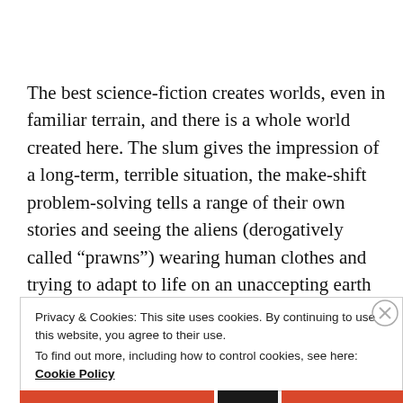The best science-fiction creates worlds, even in familiar terrain, and there is a whole world created here. The slum gives the impression of a long-term, terrible situation, the make-shift problem-solving tells a range of their own stories and seeing the aliens (derogatively called “prawns”) wearing human clothes and trying to adapt to life on an unaccepting earth makes this a world you want to explore further. There are hints at wider stories and it
Privacy & Cookies: This site uses cookies. By continuing to use this website, you agree to their use.
To find out more, including how to control cookies, see here: Cookie Policy
Close and accept